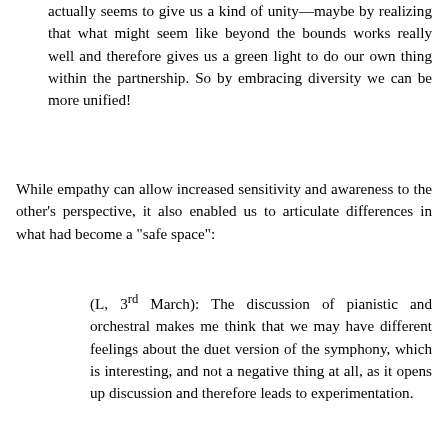actually seems to give us a kind of unity—maybe by realizing that what might seem like beyond the bounds works really well and therefore gives us a green light to do our own thing within the partnership. So by embracing diversity we can be more unified!
While empathy can allow increased sensitivity and awareness to the other's perspective, it also enabled us to articulate differences in what had become a "safe space":
(L, 3rd March): The discussion of pianistic and orchestral makes me think that we may have different feelings about the duet version of the symphony, which is interesting, and not a negative thing at all, as it opens up discussion and therefore leads to experimentation.
(M, 20th March): By this stage in our playing together I really enjoy the differences between [L]'s interpretive approach and mine—often I find that what I'd choose to do myself is made much more interesting when it interacts (or occasionally